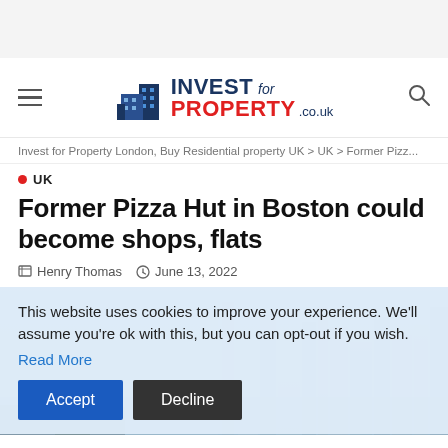[Figure (logo): Invest for Property .co.uk logo with building icon]
Invest for Property London, Buy Residential property UK > UK > Former Pizz...
UK
Former Pizza Hut in Boston could become shops, flats
Henry Thomas   June 13, 2022
This website uses cookies to improve your experience. We'll assume you're ok with this, but you can opt-out if you wish. Read More
[Figure (photo): City skyline photo of Boston buildings in background, partially visible behind cookie banner]